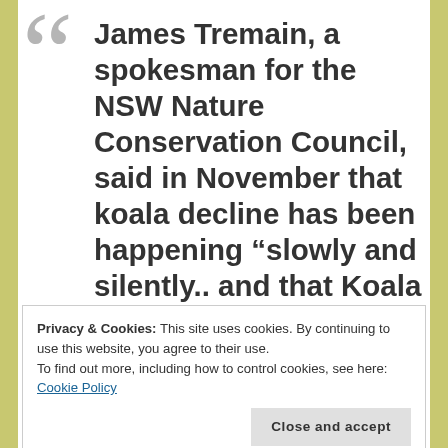James Tremain, a spokesman for the NSW Nature Conservation Council, said in November that koala decline has been happening “slowly and silently.. and that Koala numbers have plunged over the past 20 years. According
Privacy & Cookies: This site uses cookies. By continuing to use this website, you agree to their use.
To find out more, including how to control cookies, see here: Cookie Policy
Close and accept
have dropped 42% between